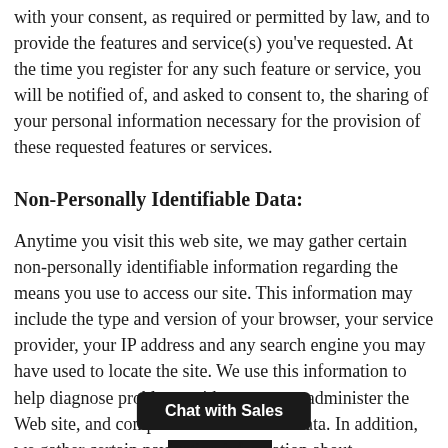with your consent, as required or permitted by law, and to provide the features and service(s) you've requested. At the time you register for any such feature or service, you will be notified of, and asked to consent to, the sharing of your personal information necessary for the provision of these requested features or services.
Non-Personally Identifiable Data:
Anytime you visit this web site, we may gather certain non-personally identifiable information regarding the means you use to access our site. This information may include the type and version of your browser, your service provider, your IP address and any search engine you may have used to locate the site. We use this information to help diagnose problems with our server, administer the Web site, and compile broad statistical data. In addition, we gather certain nav[igation inform]ation about